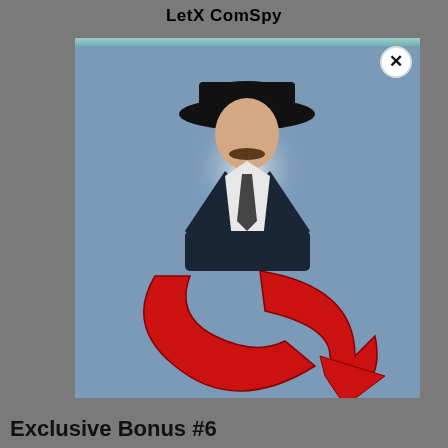LetX ComSpy
[Figure (screenshot): A dialog/popup window with a blue-gray background showing a man wearing a black cowboy hat and dark suit jacket with a mustache, with a glowing white light behind him. In the lower portion a large red stylized arrow curves downward and to the right. A white close button (X) appears in the upper right corner of the dialog box.]
Exclusive Bonus #6